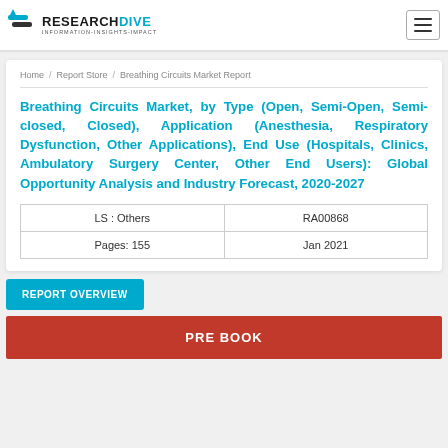RESEARCHDIVE INFORMATION-INSIGHTS-IMPACT
Home / Report Store / Breathing Circuits Market Report
Breathing Circuits Market, by Type (Open, Semi-Open, Semi-closed, Closed), Application (Anesthesia, Respiratory Dysfunction, Other Applications), End Use (Hospitals, Clinics, Ambulatory Surgery Center, Other End Users): Global Opportunity Analysis and Industry Forecast, 2020-2027
| LS : Others | RA00868 |
| Pages: 155 | Jan 2021 |
REPORT OVERVIEW
PRE BOOK